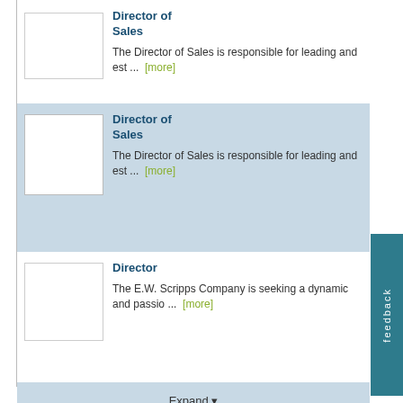Director of Sales
The Director of Sales is responsible for leading and est ...  [more]
Director of Sales
The Director of Sales is responsible for leading and est ...  [more]
Director
The E.W. Scripps Company is seeking a dynamic and passio ...  [more]
Expand
Evaluate
Personality Test (Free)